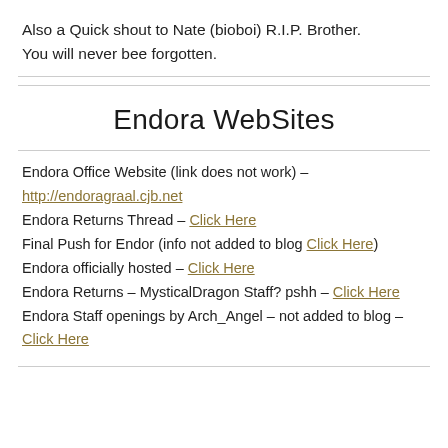Also a Quick shout to Nate (bioboi) R.I.P. Brother. You will never bee forgotten.
Endora WebSites
Endora Office Website (link does not work) – http://endoragraal.cjb.net
Endora Returns Thread – Click Here
Final Push for Endor (info not added to blog Click Here)
Endora officially hosted – Click Here
Endora Returns – MysticalDragon Staff? pshh – Click Here
Endora Staff openings by Arch_Angel – not added to blog – Click Here